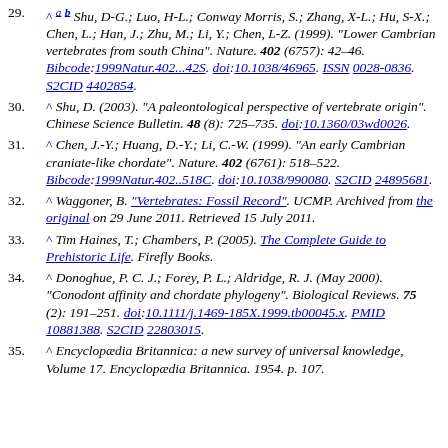29. ^ a b Shu, D-G.; Luo, H-L.; Conway Morris, S.; Zhang, X-L.; Hu, S-X.; Chen, L.; Han, J.; Zhu, M.; Li, Y.; Chen, L-Z. (1999). "Lower Cambrian vertebrates from south China". Nature. 402 (6757): 42–46. Bibcode:1999Natur.402...42S. doi:10.1038/46965. ISSN 0028-0836. S2CID 4402854.
30. ^ Shu, D. (2003). "A paleontological perspective of vertebrate origin". Chinese Science Bulletin. 48 (8): 725–735. doi:10.1360/03wd0026.
31. ^ Chen, J.-Y.; Huang, D.-Y.; Li, C.-W. (1999). "An early Cambrian craniate-like chordate". Nature. 402 (6761): 518–522. Bibcode:1999Natur.402..518C. doi:10.1038/990080. S2CID 24895681.
32. ^ Waggoner, B. "Vertebrates: Fossil Record". UCMP. Archived from the original on 29 June 2011. Retrieved 15 July 2011.
33. ^ Tim Haines, T.; Chambers, P. (2005). The Complete Guide to Prehistoric Life. Firefly Books.
34. ^ Donoghue, P. C. J.; Forey, P. L.; Aldridge, R. J. (May 2000). "Conodont affinity and chordate phylogeny". Biological Reviews. 75 (2): 191–251. doi:10.1111/j.1469-185X.1999.tb00045.x. PMID 10881388. S2CID 22803015.
35. ^ Encyclopædia Britannica: a new survey of universal knowledge, Volume 17. Encyclopædia Britannica. 1954. p. 107.